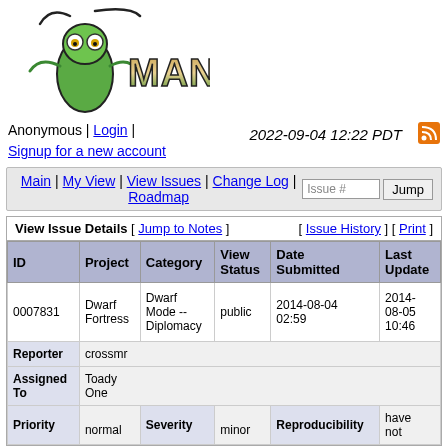[Figure (logo): Mantis Bug Tracker logo with green praying mantis insect and MANTIS text in brown/green gradient]
Anonymous | Login | Signup for a new account    2022-09-04 12:22 PDT
Main | My View | View Issues | Change Log | Roadmap   Issue # [Jump]
| ID | Project | Category | View Status | Date Submitted | Last Update |
| --- | --- | --- | --- | --- | --- |
| 0007831 | Dwarf Fortress | Dwarf Mode -- Diplomacy | public | 2014-08-04 02:59 | 2014-08-05 10:46 |
| Reporter | crossmr |  |  |  |  |
| Assigned To | Toady One |  |  |  |  |
| Priority | normal | Severity | minor | Reproducibility | have not |